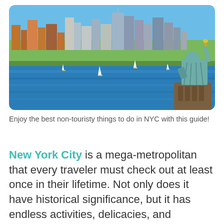[Figure (photo): Photo of New York City skyline with the Statue of Liberty in the foreground right, blue harbor water with sailboats, and Manhattan skyscrapers in the background under a clear blue sky.]
Enjoy the best non-touristy things to do in NYC with this guide!
New York City is a mega-metropolitan that every traveler must check out at least once in their lifetime. Not only does it have historical significance, but it has endless activities, delicacies, and attractions you can enjoy.